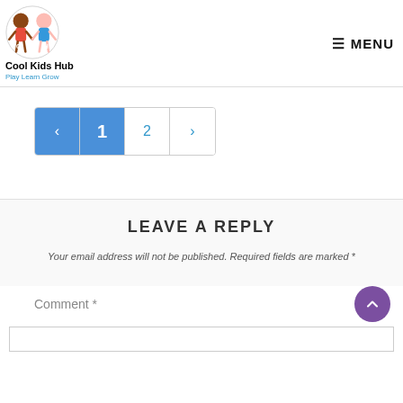Cool Kids Hub — Play Learn Grow — MENU
[Figure (other): Pagination control showing previous arrow, page 1 (active/blue), page 2, and next arrow]
LEAVE A REPLY
Your email address will not be published. Required fields are marked *
Comment *